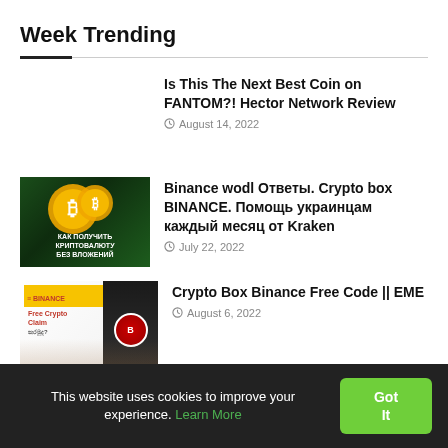Week Trending
Is This The Next Best Coin on FANTOM?! Hector Network Review
August 14, 2022
[Figure (photo): Cryptocurrency coins with green chart background, text in Russian: КАК ПОЛУЧИТЬ КРИПТОВАЛЮТУ БЕЗ ВЛОЖЕНИЙ]
Binance wodl Ответы. Crypto box BINANCE. Помощь украинцам каждый месяц от Kraken
July 22, 2022
[Figure (photo): Binance Free Crypto Claim promotional image with person]
Crypto Box Binance Free Code || EME
August 6, 2022
[Figure (photo): Dark background partial image for fourth article]
How to migrate little rabbit from V1 to V2
This website uses cookies to improve your experience. Learn More